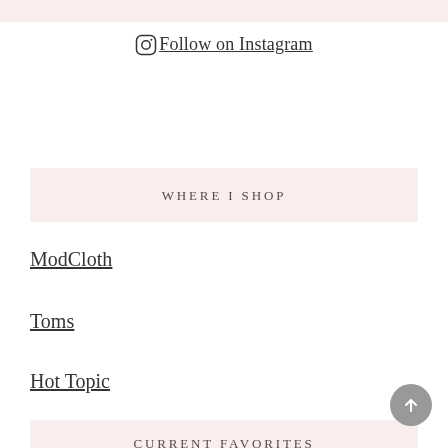Follow on Instagram
WHERE I SHOP
ModCloth
Toms
Hot Topic
CURRENT FAVORITES